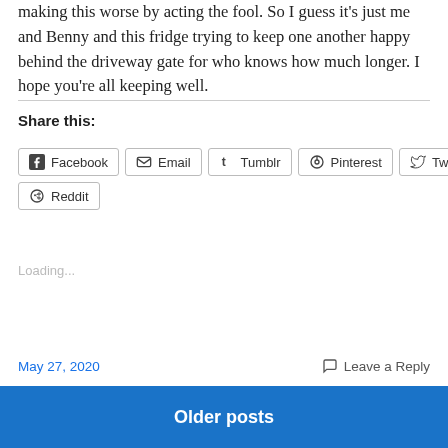making this worse by acting the fool. So I guess it's just me and Benny and this fridge trying to keep one another happy behind the driveway gate for who knows how much longer. I hope you're all keeping well.
Share this:
Facebook
Email
Tumblr
Pinterest
Twitter
Reddit
Loading...
May 27, 2020
Leave a Reply
Older posts